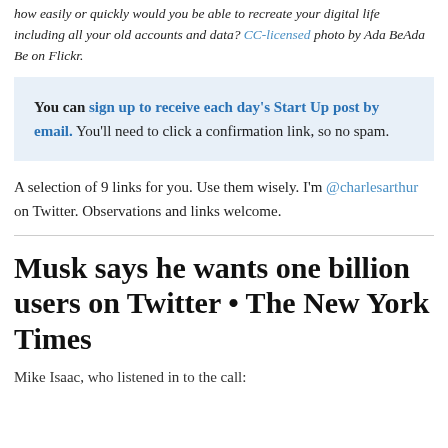how easily or quickly would you be able to recreate your digital life including all your old accounts and data? CC-licensed photo by Ada BeAda Be on Flickr.
You can sign up to receive each day's Start Up post by email. You'll need to click a confirmation link, so no spam.
A selection of 9 links for you. Use them wisely. I'm @charlesarthur on Twitter. Observations and links welcome.
Musk says he wants one billion users on Twitter • The New York Times
Mike Isaac, who listened in to the call: